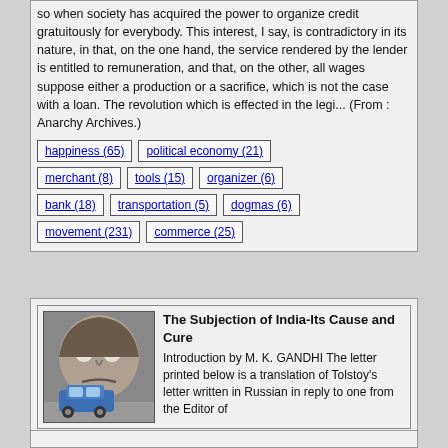so when society has acquired the power to organize credit gratuitously for everybody. This interest, I say, is contradictory in its nature, in that, on the one hand, the service rendered by the lender is entitled to remuneration, and that, on the other, all wages suppose either a production or a sacrifice, which is not the case with a loan. The revolution which is effected in the legi... (From : Anarchy Archives.)
happiness (65)
political economy (21)
merchant (8)
tools (15)
organizer (6)
bank (18)
transportation (5)
dogmas (6)
movement (231)
commerce (25)
[Figure (photo): A street art mural of a distorted face on a wall, with a blue car parked in front.]
The Subjection of India-Its Cause and Cure
Introduction by M. K. GANDHI The letter printed below is a translation of Tolstoy's letter written in Russian in reply to one from the Editor of